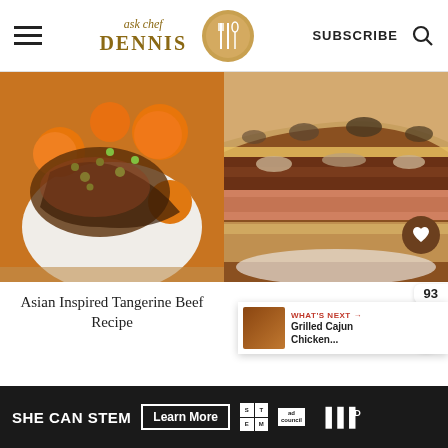ask chef DENNIS | SUBSCRIBE
[Figure (photo): Asian Inspired Tangerine Beef dish in a white bowl with rice, orange segments, green onions and herbs in brown glaze sauce]
[Figure (photo): The Ultimate Pulled Pork Cheesesteak sandwich on flatbread with melted cheese and caramelized onions]
Asian Inspired Tangerine Beef Recipe
The Ultimate Pulled Pork Che...
93
WHAT'S NEXT → Grilled Cajun Chicken...
SHE CAN STEM | Learn More | ad council